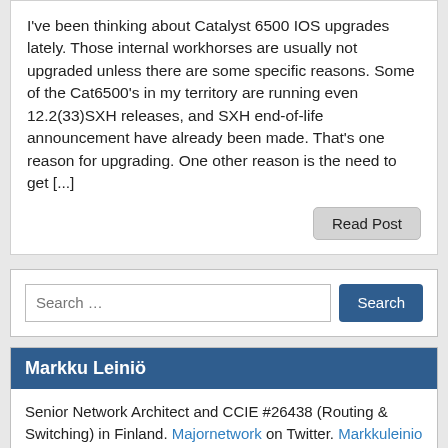I've been thinking about Catalyst 6500 IOS upgrades lately. Those internal workhorses are usually not upgraded unless there are some specific reasons. Some of the Cat6500's in my territory are running even 12.2(33)SXH releases, and SXH end-of-life announcement have already been made. That's one reason for upgrading. One other reason is the need to get [...]
Read Post
Search …
Search
Markku Leiniö
Senior Network Architect and CCIE #26438 (Routing & Switching) in Finland. Majornetwork on Twitter. Markkuleinio on GitHub.
Your IPv4/IPv6 Status
You are using IPv4, address 3.237.6.144